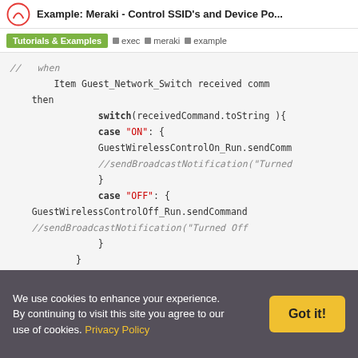Example: Meraki - Control SSID's and Device Po...
Tutorials & Examples  exec  meraki  example
// when
    Item Guest_Network_Switch received comm
then
        switch(receivedCommand.toString ){
        case "ON": {
        GuestWirelessControlOn_Run.sendComm
        //sendBroadcastNotification("Turned
        }
        case "OFF": {
        GuestWirelessControlOff_Run.sendCommand
        //sendBroadcastNotification("Turned Off
        }
    }
end
We use cookies to enhance your experience. By continuing to visit this site you agree to our use of cookies. Privacy Policy